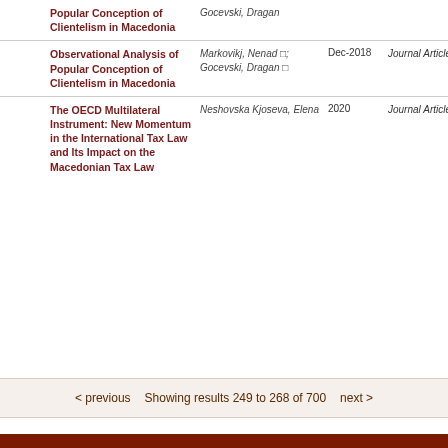|  | Title | Author | Date | Type |
| --- | --- | --- | --- | --- |
|  | Popular Conception of Clientelism in Macedonia | Gocevski, Dragan |  |  |
|  | Observational Analysis of Popular Conception of Clientelism in Macedonia | Markovikj, Nenad; Gocevski, Dragan | Dec-2018 | Journal Article |
|  | The OECD Multilateral Instrument: New Momentum in the International Tax Law and Its Impact on the Macedonian Tax Law | Neshovska Kjoseva, Elena | 2020 | Journal Article |
< previous  Showing results 249 to 268 of 700  next >